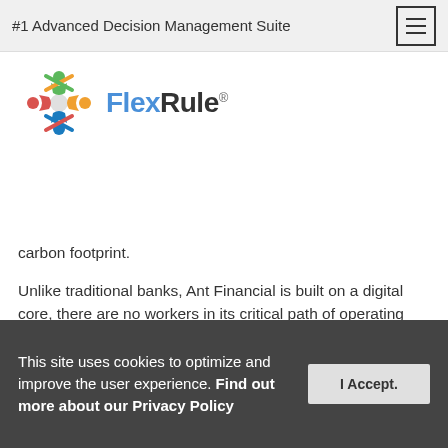#1 Advanced Decision Management Suite
[Figure (logo): FlexRule logo with colorful snowflake/star icon and brand name 'FlexRule' with registered trademark symbol]
carbon footprint.
Unlike traditional banks, Ant Financial is built on a digital core, there are no workers in its critical path of operating activities. There is no manager approving loans, no employee providing financial advice, no representative authoritative authorizing consumer medical expenses. And without any operating constraints that limit traditional firms, Ant Financial can
This site uses cookies to optimize and improve the user experience. Find out more about our Privacy Policy